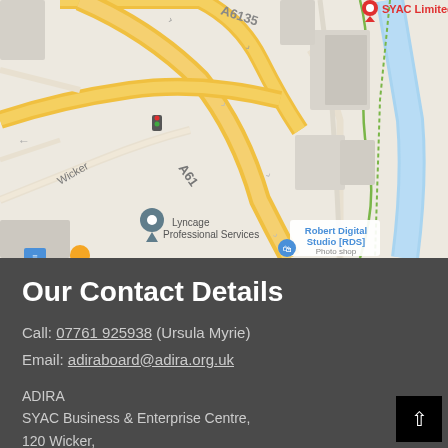[Figure (map): Google Maps screenshot showing Sheffield area with roads A6135, A61, Wicker street, SYAC Limited location pin, Robert Digital Studio [RDS] Photo shop, Lyncage Professional Services marker, and a river on the right side.]
Our Contact Details
Call: 07761 925938 (Ursula Myrie)
Email: adiraboard@adira.org.uk
ADIRA
SYAC Business & Enterprise Centre,
120 Wicker,